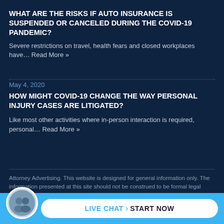WHAT ARE THE RISKS IF AUTO INSURANCE IS SUSPENDED OR CANCELED DURING THE COVID-19 PANDEMIC?
Severe restrictions on travel, health fears and closed workplaces have… Read More »
May 4, 2020
HOW MIGHT COVID-19 CHANGE THE WAY PERSONAL INJURY CASES ARE LITIGATED?
Like most other activities where in-person interaction is required, personal… Read More »
Attorney Advertising. This website is designed for general information only. The information presented at this site should not be construed to be formal legal advice nor the formation of a lawyer/client relationship. [ Site Map ] [ Bookmark Us ]